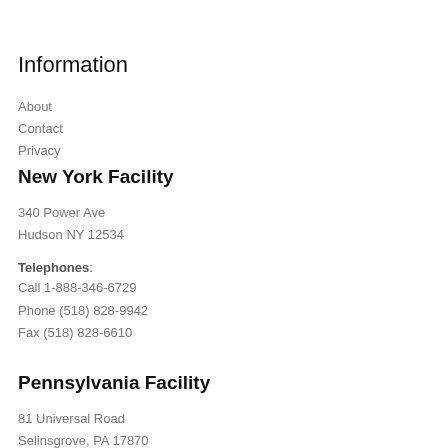Information
About
Contact
Privacy
New York Facility
340 Power Ave
Hudson NY 12534
Telephones:
Call 1-888-346-6729
Phone (518) 828-9942
Fax (518) 828-6610
Pennsylvania Facility
81 Universal Road
Selinsgrove, PA 17870